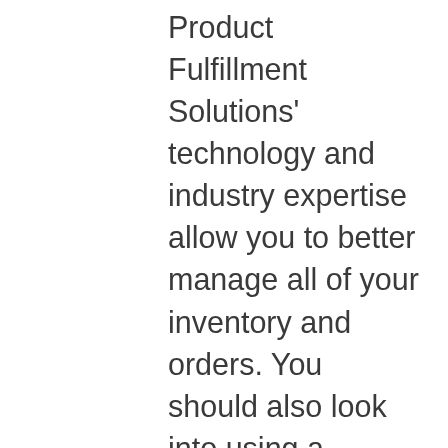Product Fulfillment Solutions' technology and industry expertise allow you to better manage all of your inventory and orders. You should also look into using a wholesale marketplace to find suppliers who can fill orders more quickly or even list your own products for sale. Data and analytics, and expertise you need to help you make better business decisions and keep customers happy. ShipBob's technology fully integrates with your store to easily manage all inventory and orders from one central dashboard, while they fulfill your orders on your behalf. Whereas, Work in progress is a term used mainly in the construction business when a certain building is being constructed. Now for calculating this one